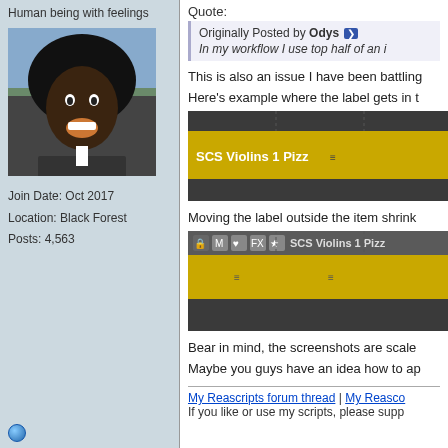Human being with feelings
[Figure (photo): Avatar photo of a person with a large afro hairstyle, mouth open, wearing a suit, in front of an outdoor background]
Join Date: Oct 2017
Location: Black Forest
Posts: 4,563
Quote:
Originally Posted by Odys
In my workflow I use top half of an i
This is also an issue I have been battling
Here's example where the label gets in t
[Figure (screenshot): Screenshot of a DAW timeline showing a yellow track labeled 'SCS Violins 1 Pizz' with MIDI notes, dark grey background with track header]
Moving the label outside the item shrink
[Figure (screenshot): Screenshot of a DAW timeline showing the same track 'SCS Violins 1 Pizz' with the label moved outside, showing track controls (lock, mute, solo, FX icons), yellow clips with MIDI markers]
Bear in mind, the screenshots are scale
Maybe you guys have an idea how to ap
My Reascripts forum thread | My Reasco
If you like or use my scripts, please supp